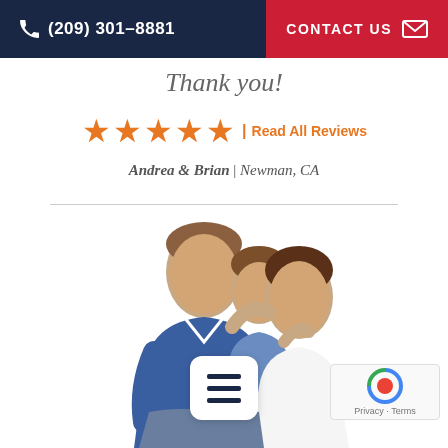(209) 301-8881 | CONTACT US
Thank you!
★★★★★ | Read All Reviews
Andrea & Brian | Newman, CA
[Figure (photo): Family photo of a man in blue polo shirt with a girl and a woman smiling behind him, on white background]